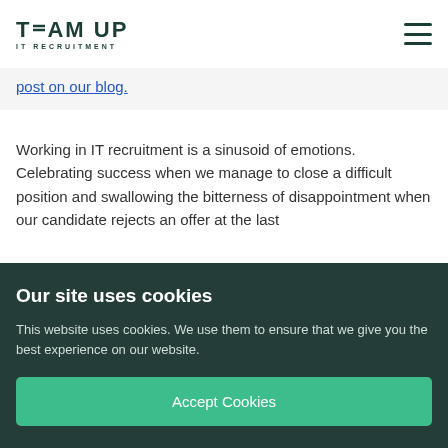TEAM UP IT RECRUITMENT
post on our blog.
Working in IT recruitment is a sinusoid of emotions. Celebrating success when we manage to close a difficult position and swallowing the bitterness of disappointment when our candidate rejects an offer at the last
Our site uses cookies
This website uses cookies. We use them to ensure that we give you the best experience on our website.
Accept Cookies